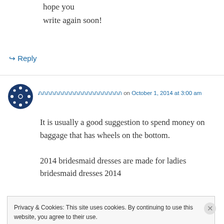hope you
write again soon!
↳ Reply
ภภภภภภภภภภภภภภภภภภภภภ on October 1, 2014 at 3:00 am
It is usually a good suggestion to spend money on baggage that has wheels on the bottom.

2014 bridesmaid dresses are made for ladies bridesmaid dresses 2014
Privacy & Cookies: This site uses cookies. By continuing to use this website, you agree to their use.
To find out more, including how to control cookies, see here: Cookie Policy
Close and accept